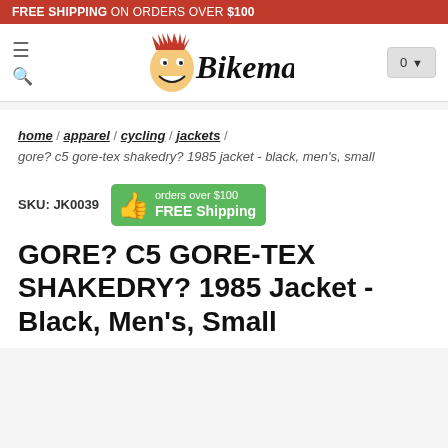FREE SHIPPING ON ORDERS OVER $100
[Figure (logo): Bikeman logo — cartoon face with red hair and italic 'Bikeman' text]
home / apparel / cycling / jackets / gore? c5 gore-tex shakedry? 1985 jacket - black, men's, small
SKU: JK0039
[Figure (infographic): Green badge with thumbs-up icon: 'orders over $100 FREE Shipping']
GORE? C5 GORE-TEX SHAKEDRY? 1985 Jacket - Black, Men's, Small